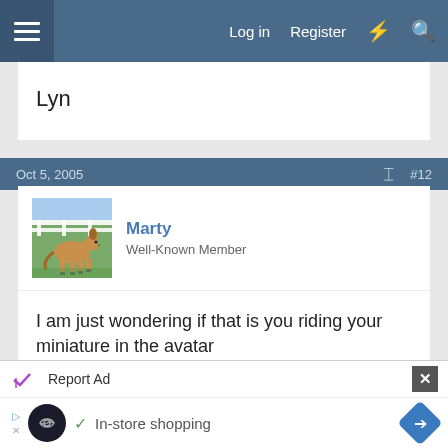Log in  Register
Lyn
Oct 5, 2005  #12
[Figure (photo): Avatar photo of a horse standing in a field with a white fence]
Marty
Well-Known Member
I am just wondering if that is you riding your miniature in the avatar
Advertisement
Report Ad
In-store shopping